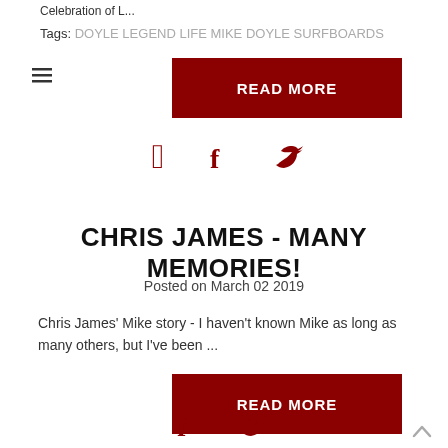Celebration of L...
Tags: DOYLE LEGEND LIFE MIKE DOYLE SURFBOARDS
[Figure (other): Hamburger menu icon (three horizontal lines)]
READ MORE
[Figure (other): Social media icons: Facebook and Twitter in dark red]
CHRIS JAMES - MANY MEMORIES!
Posted on March 02 2019
Chris James' Mike story -  I haven't known Mike as long as many others, but I've been ...
READ MORE
[Figure (other): Social media icons: Facebook and Twitter in dark red]
[Figure (other): Back to top arrow icon]